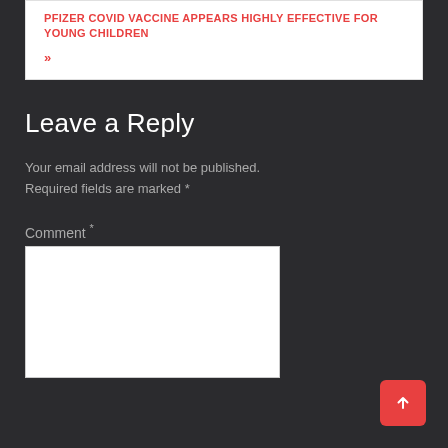PFIZER COVID VACCINE APPEARS HIGHLY EFFECTIVE FOR YOUNG CHILDREN
»
Leave a Reply
Your email address will not be published. Required fields are marked *
Comment *